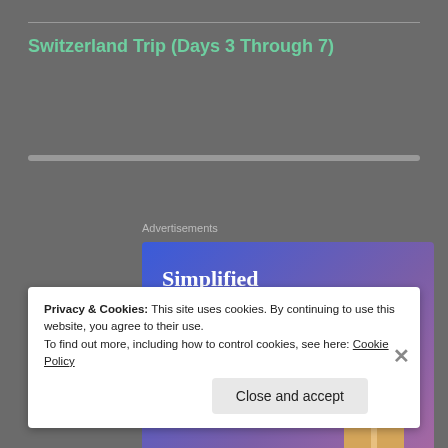Switzerland Trip (Days 3 Through 7)
[Figure (screenshot): Advertisement banner with blue-to-purple gradient background, text 'Simplified pricing for everything you need.' with a 'Build Your Website' button and a price tag illustration]
Privacy & Cookies: This site uses cookies. By continuing to use this website, you agree to their use.
To find out more, including how to control cookies, see here: Cookie Policy
Close and accept